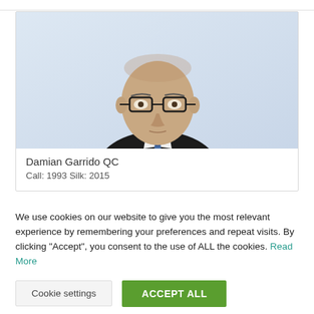[Figure (photo): Professional headshot of Damian Garrido QC, a bald middle-aged man wearing glasses, a dark suit, white shirt, and blue tie, against a light blue-grey background]
Damian Garrido QC
Call: 1993 Silk: 2015
We use cookies on our website to give you the most relevant experience by remembering your preferences and repeat visits. By clicking “Accept”, you consent to the use of ALL the cookies. Read More